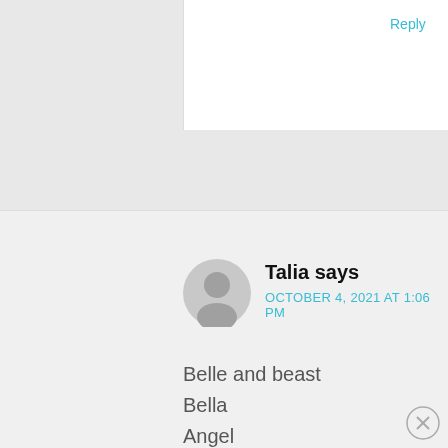Reply
Talia says
OCTOBER 4, 2021 AT 1:06 PM
Belle and beast
Bella
Angel
Elsa
Frost
sapphire
sky